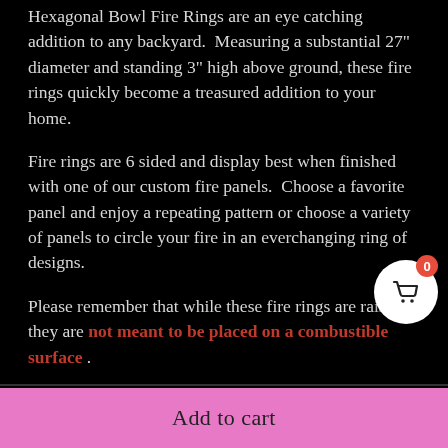Hexagonal Bowl Fire Rings are an eye catching addition to any backyard. Measuring a substantial 27" diameter and standing 3" high above ground, these fire rings quickly become a treasured addition to your home.
Fire rings are 6 sided and display best when finished with one of our custom fire panels. Choose a favorite panel and enjoy a repeating pattern or choose a variety of panels to circle your fire in an everchanging ring of designs.
Please remember that while these fire rings are raised, they are not meant to be placed on a combustible surface.
Add to cart